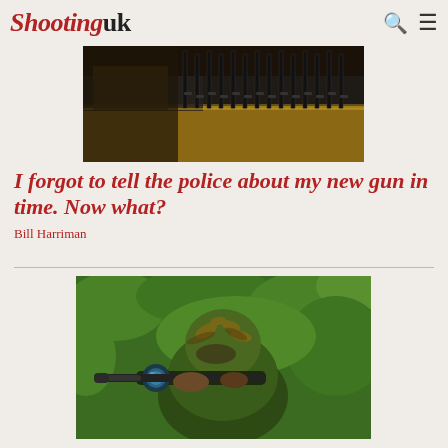Shooting uk
[Figure (photo): Interior of a gun shop showing rows of rifles displayed on wooden racks in a glass display case]
I forgot to tell the police about my new gun in time. Now what?
Bill Harriman
[Figure (photo): A person in full camouflage gear including a ghillie suit aiming a rifle with a scope and suppressor, set against a green foliage background]